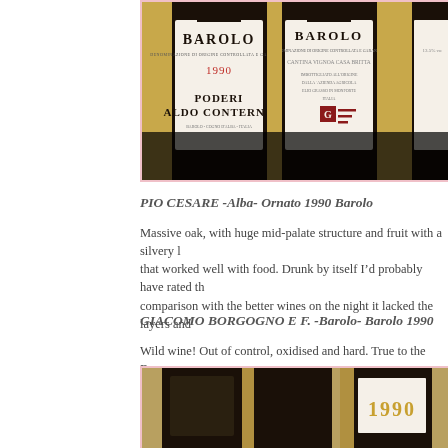[Figure (photo): Close-up photo of wine bottle labels showing BAROLO wines. Left bottle reads 'BAROLO 1990 PODERI ALDO CONTERNO'. Center bottle reads 'BAROLO' with producer details. Dark bottle necks visible.]
PIO CESARE -Alba- Ornato 1990 Barolo
Massive oak, with huge mid-palate structure and fruit with a silvery l... that worked well with food. Drunk by itself I'd probably have rated th... comparison with the better wines on the night it lacked the layers and...
GIACOMO BORGOGNO E F. -Barolo- Barolo 1990
Wild wine! Out of control, oxidised and hard. True to the Borgogno s... animal, savoury and rough around the edges, blood like saltiness, alm...
[Figure (photo): Photo of dark wine bottles, partially cropped, with '1990' visible on one label.]